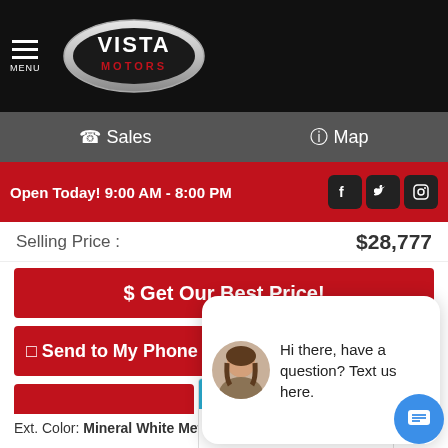[Figure (logo): Vista Motors logo - silver oval with VISTA MOTORS text, red accent]
MENU
Sales   Map
Open Today! 9:00 AM - 8:00 PM
Selling Price :  $28,777
$ Get Our Best Price!
Send to My Phone   close
Hi there, have a question? Text us here.
[Figure (other): CarStory badge indicating This vehicle is a GOOD DEAL]
Ext. Color: Mineral White Metallic   Transmission: Automatic